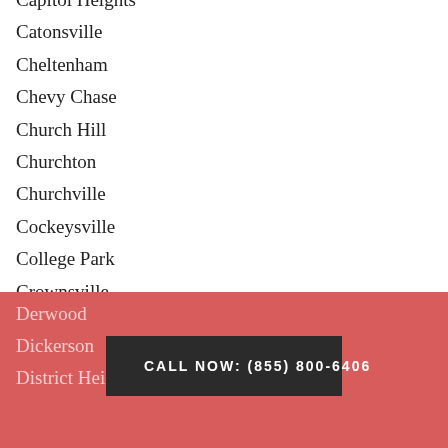Capitol Heights
Catonsville
Cheltenham
Chevy Chase
Church Hill
Churchton
Churchville
Cockeysville
College Park
Crownsville
Crumpton
Curtis Bay
Davidsonville
Deale
Derwood
Dickerson
District Heights
CALL NOW: (855) 800-6406